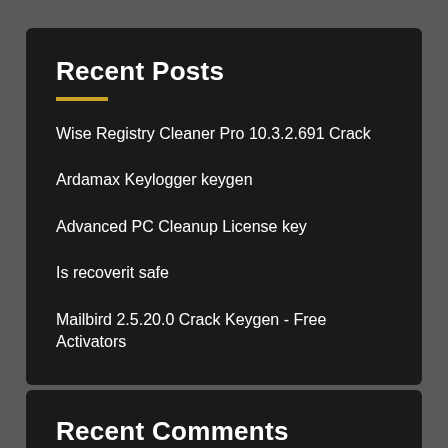Recent Posts
Wise Registry Cleaner Pro 10.3.2.691 Crack
Ardamax Keylogger keygen
Advanced PC Cleanup License key
Is recoverit safe
Mailbird 2.5.20.0 Crack Keygen - Free Activators
Recent Comments